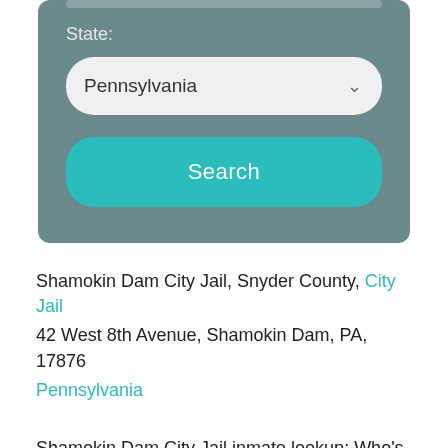[Figure (screenshot): Search form with State label, Pennsylvania dropdown selector, and teal Search button on a grey-blue rounded background]
Shamokin Dam City Jail, Snyder County, City Jail
42 West 8th Avenue, Shamokin Dam, PA, 17876
Pennsylvania
Shamokin Dam City Jail inmate lookup: Who's in jail, INS, Bond, Mugshots, Bookings, Booking Date, INS, Inmate Roster, Hold, Charges, Release Date, State: